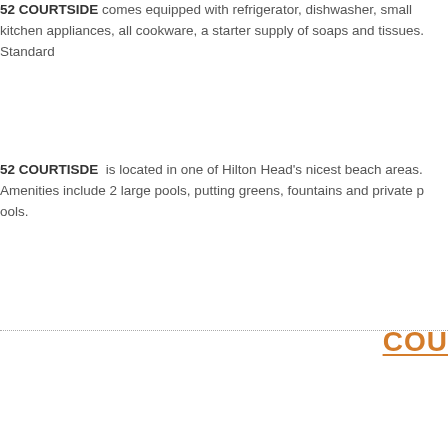52 COURTSIDE comes equipped with refrigerator, dishwasher, small kitchen appliances, all cookware, a starter supply of soaps and tissues. Standard
52 COURTISDE is located in one of Hilton Head's nicest beach areas. Amenities include 2 large pools, putting greens, fountains and private p...
COU